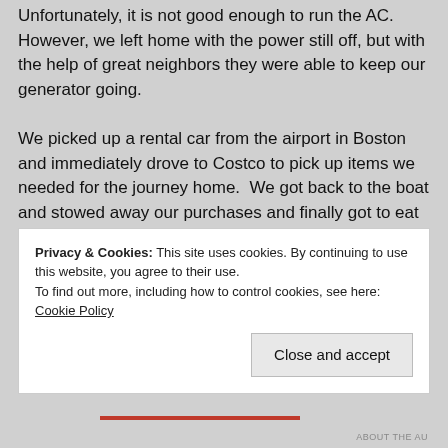Unfortunately, it is not good enough to run the AC. However, we left home with the power still off, but with the help of great neighbors they were able to keep our generator going.

We picked up a rental car from the airport in Boston and immediately drove to Costco to pick up items we needed for the journey home.  We got back to the boat and stowed away our purchases and finally got to eat some dinner.  We then
Privacy & Cookies: This site uses cookies. By continuing to use this website, you agree to their use.
To find out more, including how to control cookies, see here: Cookie Policy
Close and accept